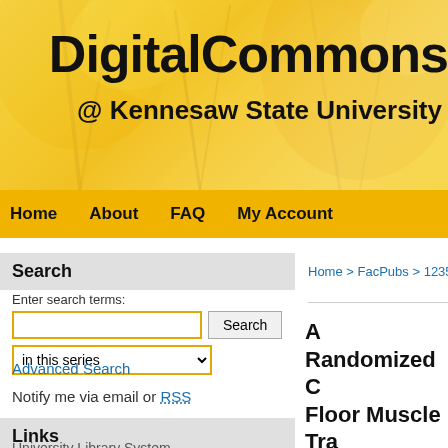[Figure (screenshot): DigitalCommons @ Kennesaw State University website header banner with autumn tree background in gold/yellow tones]
DigitalCommons @ Kennesaw State University
Home   About   FAQ   My Account
Search
Enter search terms:
in this series
Advanced Search
Notify me via email or RSS
Links
University Library System
Home > FacPubs > 1235
A Randomized C Floor Muscle Tra Program for Imp